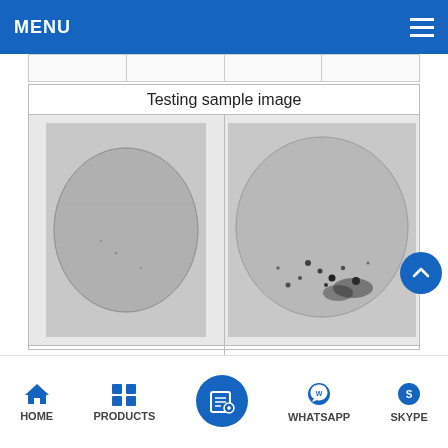MENU
| Testing sample image |
| --- |
| Regular image | Polarization image |
| No. 1 non-metallic particles 572.25 X 171.33 µm |
| [blurred image] | Area = 71282.89µm2 |
[Figure (photo): Regular image of circular metal sample, grayscale, showing flat disc with slight texture]
[Figure (photo): Polarization image of circular metal sample, grayscale, showing disc with dark speckles and contamination]
HOME   PRODUCTS   WHATSAPP   SKYPE